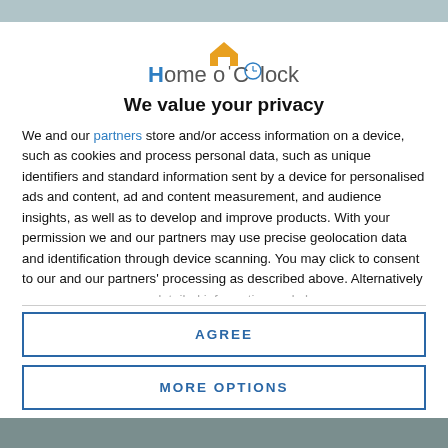[Figure (logo): Home o'Clock logo with orange roof icon above the text]
We value your privacy
We and our partners store and/or access information on a device, such as cookies and process personal data, such as unique identifiers and standard information sent by a device for personalised ads and content, ad and content measurement, and audience insights, as well as to develop and improve products. With your permission we and our partners may use precise geolocation data and identification through device scanning. You may click to consent to our and our partners' processing as described above. Alternatively you may access more detailed information and change your preferences before consenting
AGREE
MORE OPTIONS